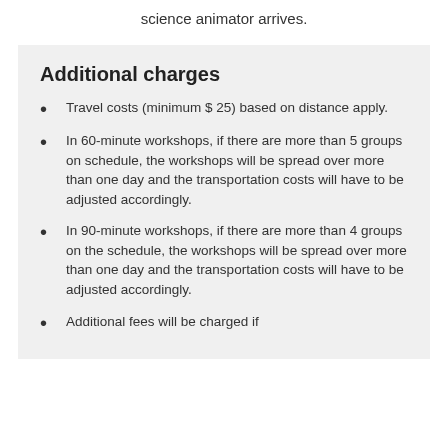science animator arrives.
Additional charges
Travel costs (minimum $ 25) based on distance apply.
In 60-minute workshops, if there are more than 5 groups on schedule, the workshops will be spread over more than one day and the transportation costs will have to be adjusted accordingly.
In 90-minute workshops, if there are more than 4 groups on the schedule, the workshops will be spread over more than one day and the transportation costs will have to be adjusted accordingly.
Additional fees will be charged if